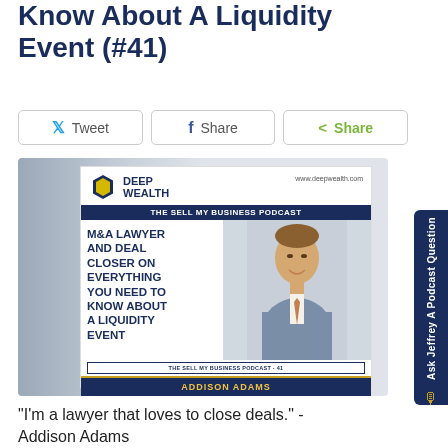Know About A Liquidity Event (#41)
[Figure (screenshot): Deep Wealth - The Sell My Business Podcast episode art featuring Addison Adams, M&A Lawyer and Deal Closer on Everything You Need to Know About a Liquidity Event, episode #41]
"I'm a lawyer that loves to close deals." - Addison Adams